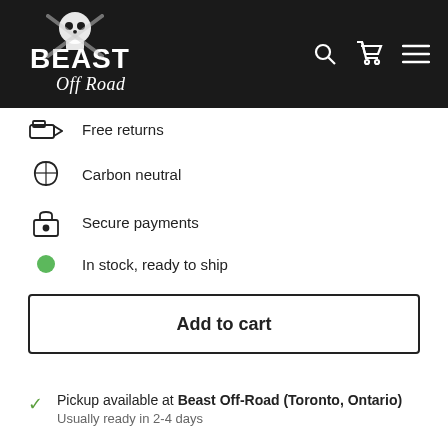Beast Off-Road navigation bar with logo, search, cart, and menu icons
Free returns
Carbon neutral
Secure payments
In stock, ready to ship
Add to cart
Pickup available at Beast Off-Road (Toronto, Ontario)
Usually ready in 2-4 days